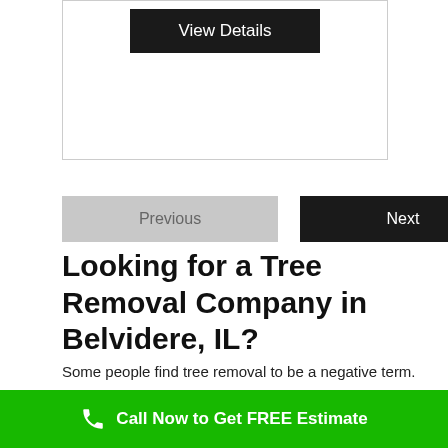[Figure (other): View Details button inside a bordered box]
Previous
Next
Looking for a Tree Removal Company in Belvidere, IL?
Some people find tree removal to be a negative term. However, responsible tree managers like Belvidere Tree Removal understands that tree removal can be necessary in certain circumstances. Stability, age, safety space, and even allergies are just a few of the factors that should be considered when analyzing tree removals. We conduct extensive diagnostic
Call Now to Get FREE Estimate